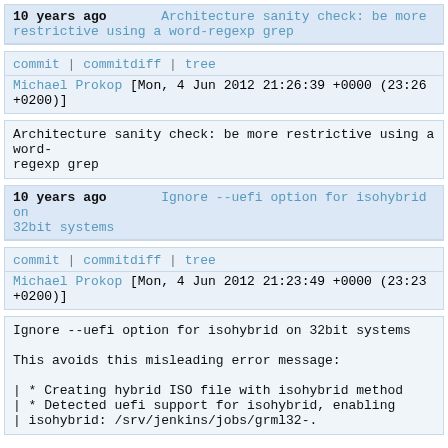10 years ago   Architecture sanity check: be more restrictive using a word-regexp grep
commit | commitdiff | tree
Michael Prokop [Mon, 4 Jun 2012 21:26:39 +0000 (23:26 +0200)]
Architecture sanity check: be more restrictive using a word-regexp grep
10 years ago   Ignore --uefi option for isohybrid on 32bit systems
commit | commitdiff | tree
Michael Prokop [Mon, 4 Jun 2012 21:23:49 +0000 (23:23 +0200)]
Ignore --uefi option for isohybrid on 32bit systems

This avoids this misleading error message:

| * Creating hybrid ISO file with isohybrid method
| * Detected uefi support for isohybrid, enabling
| isohybrid: /srv/jenkins/jobs/grml32-.